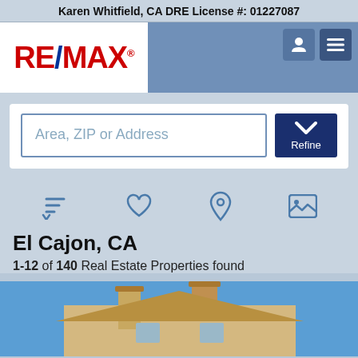Karen Whitfield, CA DRE License #: 01227087
[Figure (logo): RE/MAX logo in red and blue on white background]
Area, ZIP or Address
Refine
El Cajon, CA
1-12 of 140 Real Estate Properties found
[Figure (photo): Exterior photo of a house with beige stucco walls and chimney against blue sky]